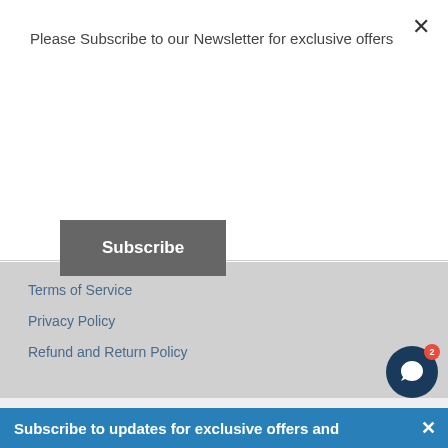Please Subscribe to our Newsletter for exclusive offers
Subscribe
Terms of Service
Privacy Policy
Refund and Return Policy
© 2022 kjdElectronics | Shopify Theme by Mile High Themes | Powered by Shopify
[Figure (other): Payment method icons: American Express, Apple Pay, Diners Club, Discover, Meta Pay, Google Pay, Mastercard, PayPal, Shop Pay, Venmo, Visa]
Subscribe to updates for exclusive offers and